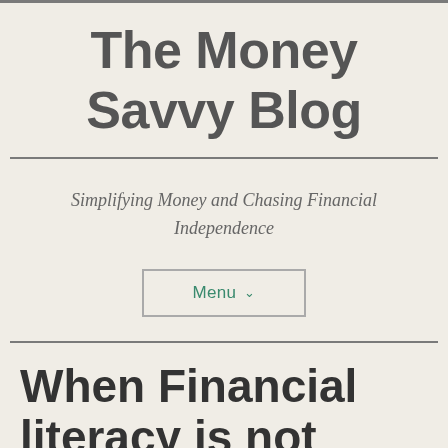The Money Savvy Blog
Simplifying Money and Chasing Financial Independence
Menu ∨
When Financial literacy is not